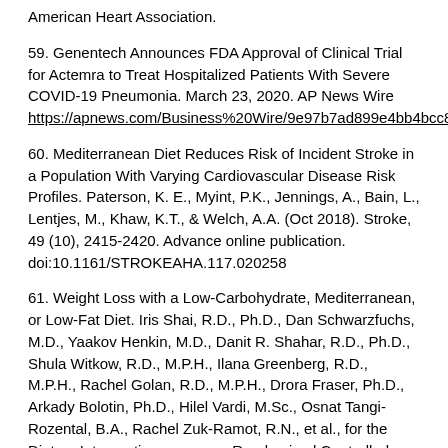American Heart Association.
59. Genentech Announces FDA Approval of Clinical Trial for Actemra to Treat Hospitalized Patients With Severe COVID-19 Pneumonia. March 23, 2020. AP News Wire https://apnews.com/Business%20Wire/9e97b7ad899e4bb4bcc80b0...
60. Mediterranean Diet Reduces Risk of Incident Stroke in a Population With Varying Cardiovascular Disease Risk Profiles. Paterson, K. E., Myint, P.K., Jennings, A., Bain, L., Lentjes, M., Khaw, K.T., & Welch, A.A. (Oct 2018). Stroke, 49 (10), 2415-2420. Advance online publication. doi:10.1161/STROKEAHA.117.020258
61. Weight Loss with a Low-Carbohydrate, Mediterranean, or Low-Fat Diet. Iris Shai, R.D., Ph.D., Dan Schwarzfuchs, M.D., Yaakov Henkin, M.D., Danit R. Shahar, R.D., Ph.D., Shula Witkow, R.D., M.P.H., Ilana Greenberg, R.D., M.P.H., Rachel Golan, R.D., M.P.H., Drora Fraser, Ph.D., Arkady Bolotin, Ph.D., Hilel Vardi, M.Sc., Osnat Tangi-Rozental, B.A., Rachel Zuk-Ramot, R.N., et al., for the Dietary Intervention Randomized Controlled Trial (DIRECT) Group. July 17, 2008. N Engl J Med 2008; 359:229-241
62. Dietary Fats and Cardiovascular Disease: A Presidential Advisory